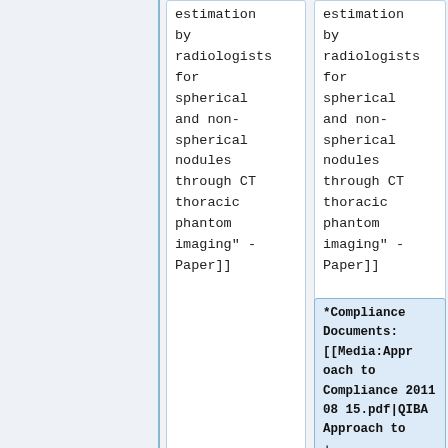estimation by radiologists for spherical and non-spherical nodules through CT thoracic phantom imaging" - Paper]]
estimation by radiologists for spherical and non-spherical nodules through CT thoracic phantom imaging" - Paper]]
*Compliance Documents: [[Media:Approach to Compliance 2011 08 15.pdf|QIBA Approach to